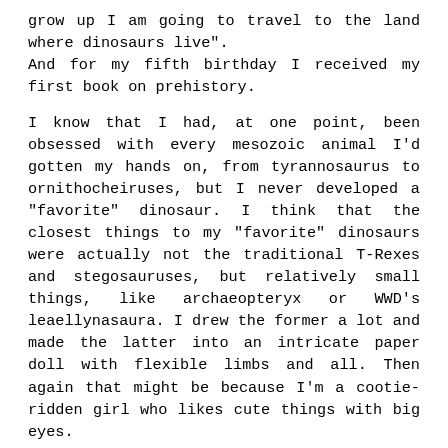grow up I am going to travel to the land where dinosaurs live". And for my fifth birthday I received my first book on prehistory.
I know that I had, at one point, been obsessed with every mesozoic animal I'd gotten my hands on, from tyrannosaurus to ornithocheiruses, but I never developed a "favorite" dinosaur. I think that the closest things to my "favorite" dinosaurs were actually not the traditional T-Rexes and stegosauruses, but relatively small things, like archaeopteryx or WWD's leaellynasaura. I drew the former a lot and made the latter into an intricate paper doll with flexible limbs and all. Then again that might be because I'm a cootie-ridden girl who likes cute things with big eyes.
I think my fascination was fueled by how exotic these creatures were. They were so...on the verge, almost close enough to be touched. The knowledge that they existed, that we knew what they looked like, yet could never meet them. They just looked so cool and the wish to see one of them with my own eyes fueled me to know more about